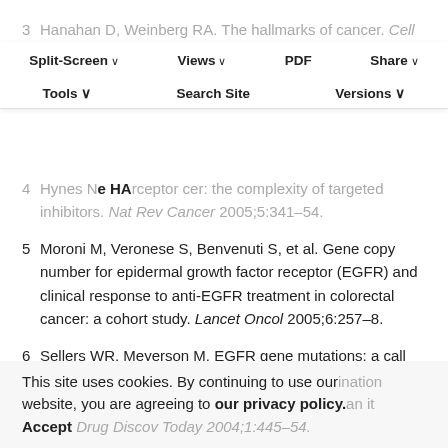3  Hanahan D, Weinberg RA. The hallmarks of cancer. Cell 2000;100:57–70.
4  Hynes NE, Lane HA. ERBB receptors and cancer: the complexity of targeted inhibitors. Nat Rev Cancer 2005;5:341–54.
5  Moroni M, Veronese S, Benvenuti S, et al. Gene copy number for epidermal growth factor receptor (EGFR) and clinical response to anti-EGFR treatment in colorectal cancer: a cohort study. Lancet Oncol 2005;6:257–8.
6  Sellers WR, Meyerson M. EGFR gene mutations: a call for global × global views of cancer. J Natl Cancer Inst 2005;97:326–8.
This site uses cookies. By continuing to use our website, you are agreeing to our privacy policy. Accept